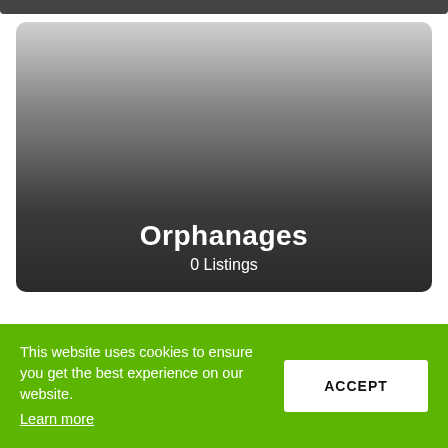[Figure (illustration): A card with gradient background (light gray at top to dark gray/charcoal at bottom) showing 'Orphanages' category listing with 0 listings.]
Orphanages
0 Listings
This website uses cookies to ensure you get the best experience on our website. Learn more
ACCEPT